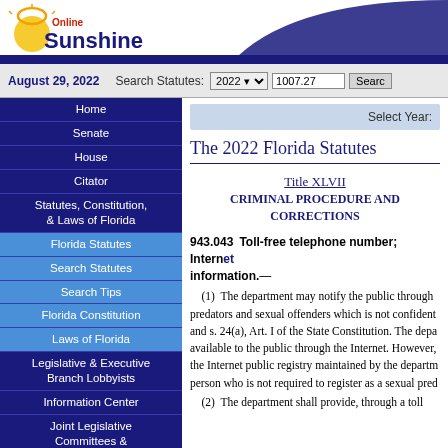[Figure (logo): Online Sunshine logo with sun graphic and stylized text]
August 29, 2022  Search Statutes: 2022  1007.27  Search
Home
Senate
House
Citator
Statutes, Constitution, & Laws of Florida
Florida Statutes
Search Statutes
Search Tips
Florida Constitution
Laws of Florida
Legislative & Executive Branch Lobbyists
Information Center
Joint Legislative Committees & Other Entities
Historical Committees
Florida Government Efficiency Task Force
Legislative Employment
Legistore
Select Year:
The 2022 Florida Statutes
Title XLVII
CRIMINAL PROCEDURE AND CORRECTIONS
943.043  Toll-free telephone number; Internet information.—
(1)  The department may notify the public through predators and sexual offenders which is not confidential and s. 24(a), Art. I of the State Constitution. The department available to the public through the Internet. However, the Internet public registry maintained by the department person who is not required to register as a sexual pred
(2)  The department shall provide, through a toll